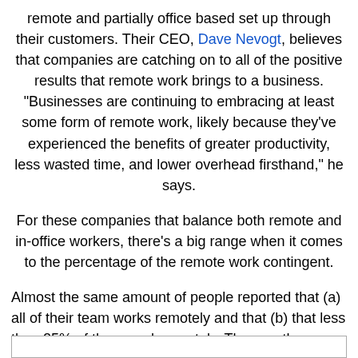remote and partially office based set up through their customers. Their CEO, Dave Nevogt, believes that companies are catching on to all of the positive results that remote work brings to a business. "Businesses are continuing to embracing at least some form of remote work, likely because they've experienced the benefits of greater productivity, less wasted time, and lower overhead firsthand," he says.
For these companies that balance both remote and in-office workers, there's a big range when it comes to the percentage of the remote work contingent.
Almost the same amount of people reported that (a) all of their team works remotely and that (b) that less than 25% of them work remotely. The way these companies set up their teams really runs the gamut.